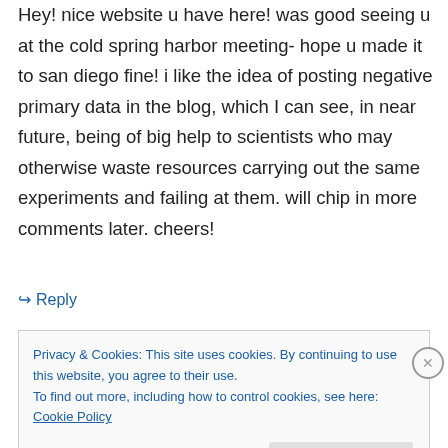Hey! nice website u have here! was good seeing u at the cold spring harbor meeting- hope u made it to san diego fine! i like the idea of posting negative primary data in the blog, which I can see, in near future, being of big help to scientists who may otherwise waste resources carrying out the same experiments and failing at them. will chip in more comments later. cheers!
↳ Reply
Privacy & Cookies: This site uses cookies. By continuing to use this website, you agree to their use.
To find out more, including how to control cookies, see here: Cookie Policy